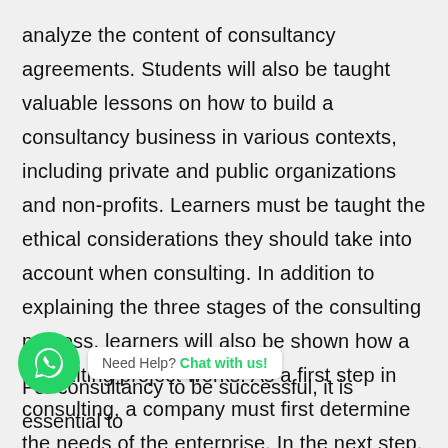analyze the content of consultancy agreements. Students will also be taught valuable lessons on how to build a consultancy business in various contexts, including private and public organizations and non-profits. Learners must be taught the ethical considerations they should take into account when consulting. In addition to explaining the three stages of the consulting process, learners will also be shown how a consulting project works. As a first step in consulting, a company must first determine the needs of the enterprise. In the next step, a consultant clarifies expectations, gathers and analyses information on the problem, formulate recommendations, implement enable change, and take closing stock or data.
[Figure (other): WhatsApp chat widget with green circular icon and 'Need Help? Chat with us!' bubble]
For consultancy to be successful, it is essential to